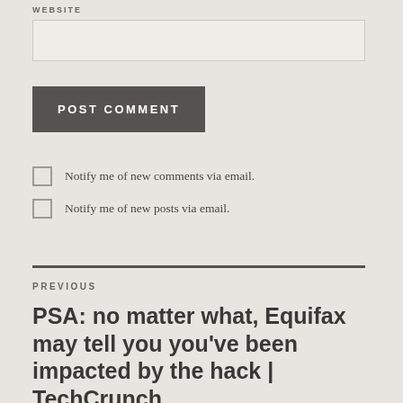WEBSITE
POST COMMENT
Notify me of new comments via email.
Notify me of new posts via email.
PREVIOUS
PSA: no matter what, Equifax may tell you you've been impacted by the hack | TechCrunch